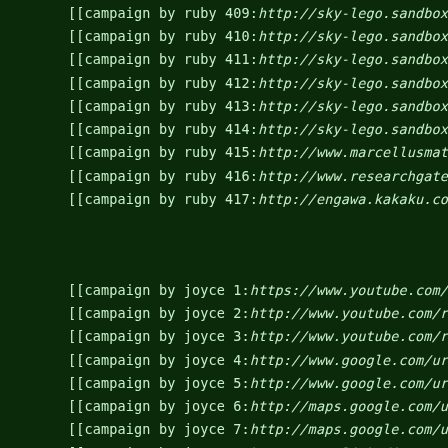[[campaign by ruby 409:http://sky-lego.sandbox.google.at/ur
[[campaign by ruby 410:http://sky-lego.sandbox.google.ch/ur
[[campaign by ruby 411:http://sky-lego.sandbox.google.cl/ur
[[campaign by ruby 412:http://sky-lego.sandbox.google.com.c
[[campaign by ruby 413:http://sky-lego.sandbox.google.co.kr
[[campaign by ruby 414:http://sky-lego.sandbox.google.com.v
[[campaign by ruby 415:http://www.marcellusmatters.psu.edu/
[[campaign by ruby 416:http://www.researchgate.net/deref/ht
[[campaign by ruby 417:http://engawa.kakaku.com/jump/?url=h
[[campaign by joyce 1:https://www.youtube.com/redirect?q=ht
[[campaign by joyce 2:http://www.youtube.com/redirect?q=htt
[[campaign by joyce 3:http://www.youtube.com/redirect?event
[[campaign by joyce 4:http://www.google.com/url?sa=t&url=ht
[[campaign by joyce 5:http://www.google.com/url?q=https%3A%
[[campaign by joyce 6:http://maps.google.com/url?q=https%3A
[[campaign by joyce 7:http://maps.google.com/url?sa=t&url=h
[[campaign by joyce 8:http://www.linkedin.com/redir/redirec
[[campaign by joyce 9:http://www.linkedin.com/redir/redirec
[[campaign by joyce 10:http://www.linkedin.com/redir/redire
[[campaign by joyce 11:http://www.linkedin.com/redir/redire
[[campaign by joyce 12:http://www.linkedin.com/redir/redire
[[campaign by joyce 13:http://www.t.me/iv?url=https%3A%2F%2
[[campaign by joyce 14:http://www.youtube.com/redirect?even
[[campaign by joyce 15:http://www.youtube.com/redirect?q=ht
[[campaign by joyce 16:http://www.google.com/url?q=https%3A